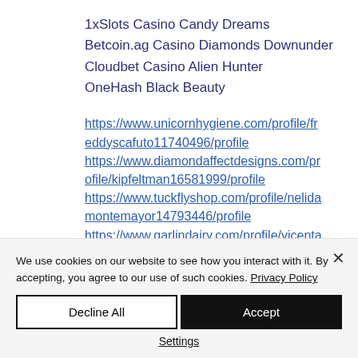1xSlots Casino Candy Dreams
Betcoin.ag Casino Diamonds Downunder
Cloudbet Casino Alien Hunter
OneHash Black Beauty
https://www.unicornhygiene.com/profile/freddyscafuto11740496/profile
https://www.diamondaffectdesigns.com/profile/kipfeltman16581999/profile
https://www.tuckflyshop.com/profile/nelidamontemayor14793446/profile
https://www.garlindairy.com/profile/vicenta...
We use cookies on our website to see how you interact with it. By accepting, you agree to our use of such cookies. Privacy Policy
Decline All
Accept
Settings